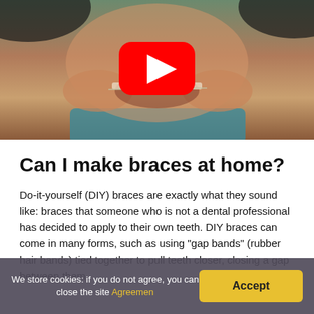[Figure (photo): A person holding dental braces wire against their teeth with a YouTube play button overlay in the center of the image]
Can I make braces at home?
Do-it-yourself (DIY) braces are exactly what they sound like: braces that someone who is not a dental professional has decided to apply to their own teeth. DIY braces can come in many forms, such as using “gap bands” (rubber hair bands) tied together to pull teeth closer, closing a gap between them.
We store cookies: if you do not agree, you can close the site Agreemen